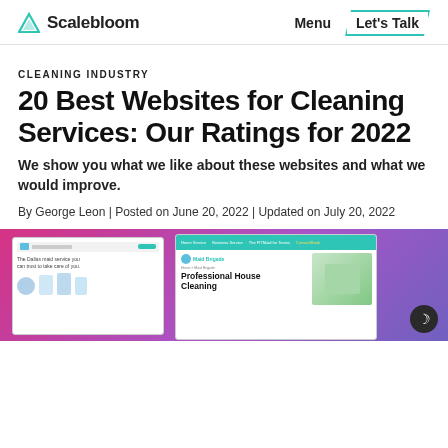Scalebloom | Menu | Let's Talk
CLEANING INDUSTRY
20 Best Websites for Cleaning Services: Our Ratings for 2022
We show you what we like about these websites and what we would improve.
By George Leon | Posted on June 20, 2022 | Updated on July 20, 2022
[Figure (screenshot): Hero image showing two cleaning service website screenshots on a colorful gradient background (pink/purple). Left screenshot shows a maid service website with illustration of cleaners. Right screenshot shows Maid Brigade website with 'Professional House Cleaning' heading and teal navigation bar.]